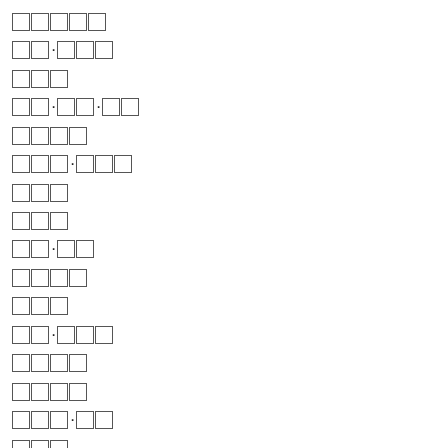□□□□□
□□·□□□
□□□
□□·□□·□□
□□□□
□□□·□□□
□□□
□□□
□□·□□
□□□□
□□□
□□·□□□
□□□□
□□□□
□□□·□□
□□□
□□□